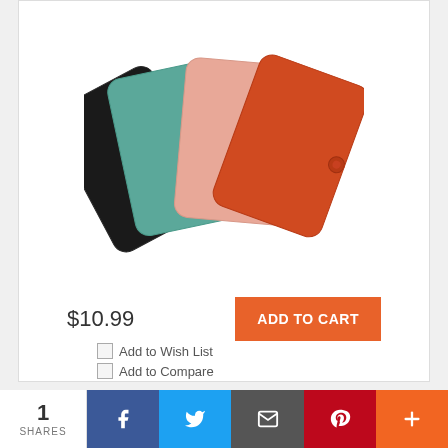[Figure (photo): Four candy-colored card bag wallets fanned out — black, teal/green, pink, and orange-red with a snap button closure]
$10.99
ADD TO CART
Add to Wish List
Add to Compare
Fashion Candy Color Card Bag
1 SHARES
[Figure (infographic): Social share bar with Facebook, Twitter, Email, Pinterest, and More buttons]